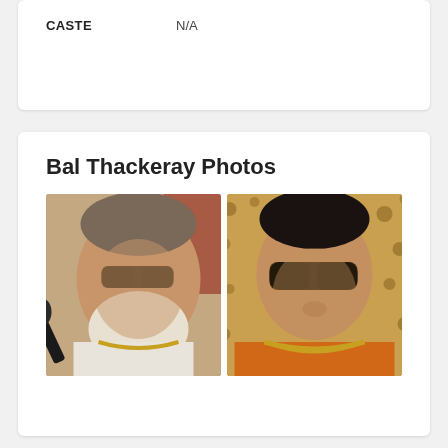| CASTE |  |
| --- | --- |
| CASTE | N/A |
Bal Thackeray Photos
[Figure (photo): Two photos of Bal Thackeray side by side. Left photo: elderly man with white beard, red bindi on forehead, dark sunglasses, wearing white attire with gold necklace, speaking at a microphone. Right photo: man in orange shirt with dark sunglasses and gold necklace, against a patterned background.]